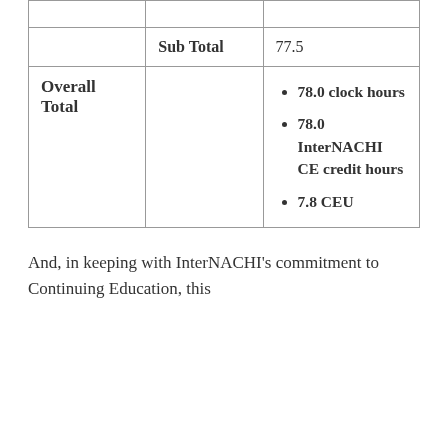|  |  |  |
|  | Sub Total | 77.5 |
| Overall Total |  | 78.0 clock hours
78.0 InterNACHI CE credit hours
7.8 CEU |
And, in keeping with InterNACHI's commitment to Continuing Education, this